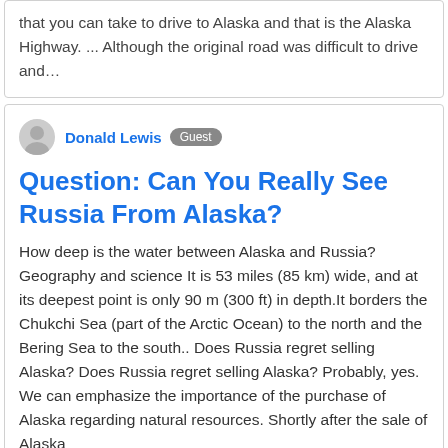that you can take to drive to Alaska and that is the Alaska Highway. ... Although the original road was difficult to drive and…
Donald Lewis  Guest
Question: Can You Really See Russia From Alaska?
How deep is the water between Alaska and Russia? Geography and science It is 53 miles (85 km) wide, and at its deepest point is only 90 m (300 ft) in depth.It borders the Chukchi Sea (part of the Arctic Ocean) to the north and the Bering Sea to the south.. Does Russia regret selling Alaska? Does Russia regret selling Alaska? Probably, yes. We can emphasize the importance of the purchase of Alaska regarding natural resources. Shortly after the sale of Alaska